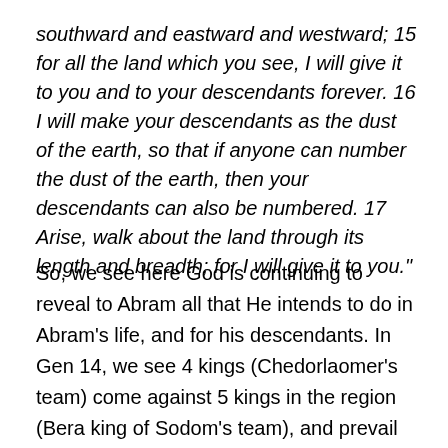southward and eastward and westward; 15 for all the land which you see, I will give it to you and to your descendants forever. 16 I will make your descendants as the dust of the earth, so that if anyone can number the dust of the earth, then your descendants can also be numbered. 17 Arise, walk about the land through its length and breadth; for I will give it to you."
So, we see here God is continuing to reveal to Abram all that He intends to do in Abram's life, and for his descendants. In Gen 14, we see 4 kings (Chedorlaomer's team) come against 5 kings in the region (Bera king of Sodom's team), and prevail against them, ransacking Sodom and taking with them Lot and his possessions. Abram rises up and defeats Cherdorlaomer and the kings with him and rescues Lot. That's no small feat, not in the slightest. The Bible is quick to point out to whom goes the